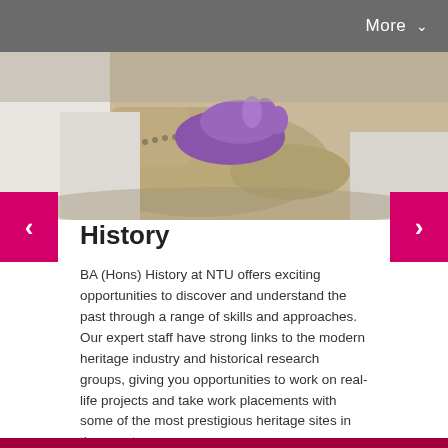More ∨
[Figure (photo): Hands wearing purple latex gloves handling an old worn leather boot, conservator or museum specialist working on artifact]
History
BA (Hons) History at NTU offers exciting opportunities to discover and understand the past through a range of skills and approaches. Our expert staff have strong links to the modern heritage industry and historical research groups, giving you opportunities to work on real-life projects and take work placements with some of the most prestigious heritage sites in the country.
Find out more